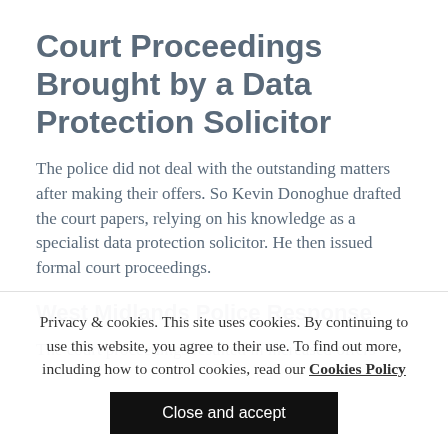Court Proceedings Brought by a Data Protection Solicitor
The police did not deal with the outstanding matters after making their offers. So Kevin Donoghue drafted the court papers, relying on his knowledge as a specialist data protection solicitor. He then issued formal court proceedings.
West Midlands Police Response
The court proceedings resulted in increased offers
Privacy & cookies. This site uses cookies. By continuing to use this website, you agree to their use. To find out more, including how to control cookies, read our Cookies Policy
Close and accept